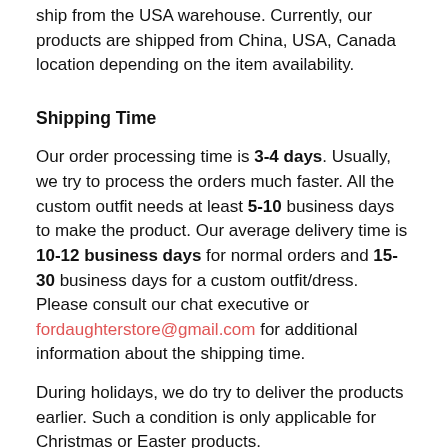ship from the USA warehouse. Currently, our products are shipped from China, USA, Canada location depending on the item availability.
Shipping Time
Our order processing time is 3-4 days. Usually, we try to process the orders much faster. All the custom outfit needs at least 5-10 business days to make the product. Our average delivery time is 10-12 business days for normal orders and 15-30 business days for a custom outfit/dress. Please consult our chat executive or fordaughterstore@gmail.com for additional information about the shipping time.
During holidays, we do try to deliver the products earlier. Such a condition is only applicable for Christmas or Easter products.
Important Note: Customs clearance, delays at the airports due to security inspection may/are not stable in the number of